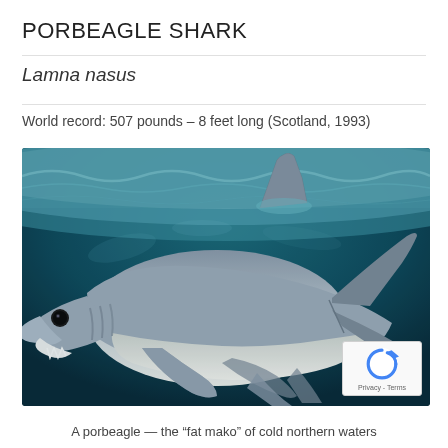PORBEAGLE SHARK
Lamna nasus
World record: 507 pounds – 8 feet long (Scotland, 1993)
[Figure (photo): Underwater photograph of a porbeagle shark swimming near the water surface, viewed from the side. The shark has a grey body with white underside, visible teeth, and a prominent dorsal fin breaking the surface. Background is deep teal-blue ocean water.]
A porbeagle — the "fat mako" of cold northern waters